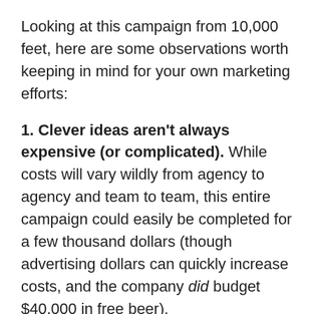Looking at this campaign from 10,000 feet, here are some observations worth keeping in mind for your own marketing efforts:
1. Clever ideas aren't always expensive (or complicated). While costs will vary wildly from agency to agency and team to team, this entire campaign could easily be completed for a few thousand dollars (though advertising dollars can quickly increase costs, and the company did budget $40,000 in free beer).
2. Tried-and-true media efforts still work.